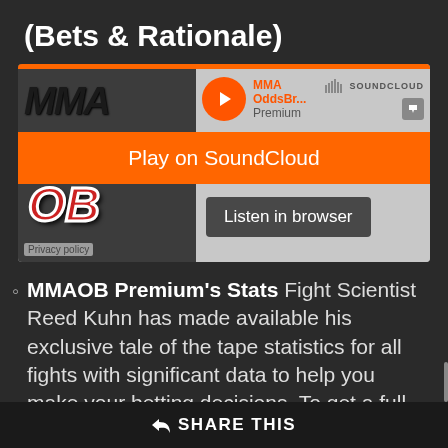(Bets & Rationale)
[Figure (screenshot): SoundCloud embedded audio player showing MMA OddsBr... Premium track with orange Play on SoundCloud banner and Listen in browser button. Left side shows MMA OB logo thumbnail.]
MMAOB Premium's Stats Fight Scientist Reed Kuhn has made available his exclusive tale of the tape statistics for all fights with significant data to help you make your betting decisions. To get a full in-depth explanation of Reed's "Uber
SHARE THIS